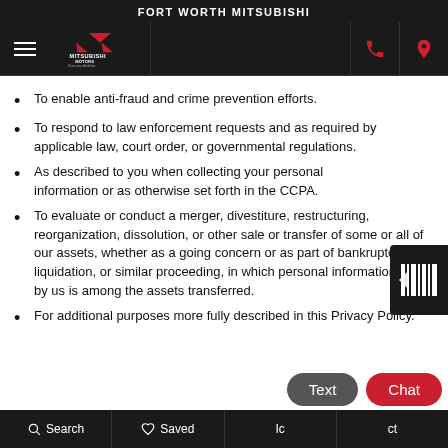FORT WORTH MITSUBISHI
To enable anti-fraud and crime prevention efforts.
To respond to law enforcement requests and as required by applicable law, court order, or governmental regulations.
As described to you when collecting your personal information or as otherwise set forth in the CCPA.
To evaluate or conduct a merger, divestiture, restructuring, reorganization, dissolution, or other sale or transfer of some or all of our assets, whether as a going concern or as part of bankruptcy, liquidation, or similar proceeding, in which personal information held by us is among the assets transferred.
For additional purposes more fully described in this Privacy Policy.
Search   Saved